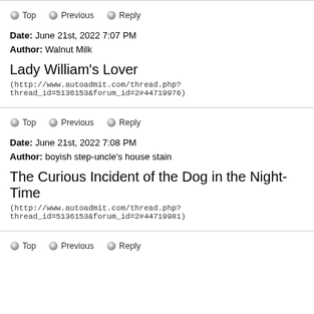Top  Previous  Reply
Date: June 21st, 2022 7:07 PM
Author: Walnut Milk
Lady William's Lover
(http://www.autoadmit.com/thread.php?thread_id=5136153&forum_id=2#44719976)
Top  Previous  Reply
Date: June 21st, 2022 7:08 PM
Author: boyish step-uncle's house stain
The Curious Incident of the Dog in the Night-Time
(http://www.autoadmit.com/thread.php?thread_id=5136153&forum_id=2#44719981)
Top  Previous  Reply